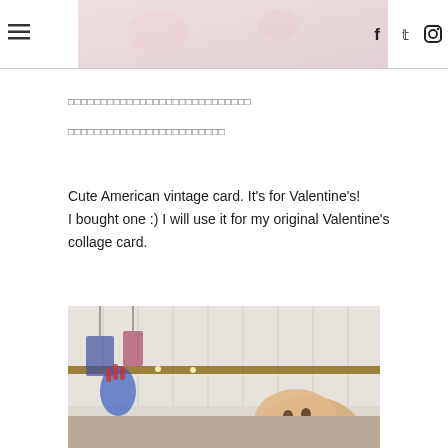Navigation header with hamburger menu, banner image, and social icons (Facebook, Twitter, Instagram)
□□□□□□□□□□□□□□□□□□□□□□□
□□□□□□□□□□□□□□□□□□□□□
Cute American vintage card.  It's for Valentine's!
I bought one :)  I will use it for my original Valentine's collage card.
[Figure (photo): Interior shop photo showing a hanging display with colorful decorative items, a wooden rail, white paneled wall background, and what appears to be a round decorative face/character in the lower right.]